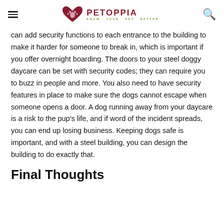PETOPPIA — KNOW YOUR PET BETTER
can add security functions to each entrance to the building to make it harder for someone to break in, which is important if you offer overnight boarding. The doors to your steel doggy daycare can be set with security codes; they can require you to buzz in people and more. You also need to have security features in place to make sure the dogs cannot escape when someone opens a door. A dog running away from your daycare is a risk to the pup's life, and if word of the incident spreads, you can end up losing business. Keeping dogs safe is important, and with a steel building, you can design the building to do exactly that.
Final Thoughts